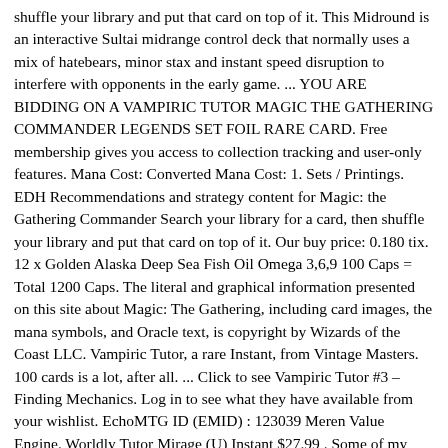shuffle your library and put that card on top of it. This Midround is an interactive Sultai midrange control deck that normally uses a mix of hatebears, minor stax and instant speed disruption to interfere with opponents in the early game. ... YOU ARE BIDDING ON A VAMPIRIC TUTOR MAGIC THE GATHERING COMMANDER LEGENDS SET FOIL RARE CARD. Free membership gives you access to collection tracking and user-only features. Mana Cost: Converted Mana Cost: 1. Sets / Printings. EDH Recommendations and strategy content for Magic: the Gathering Commander Search your library for a card, then shuffle your library and put that card on top of it. Our buy price: 0.180 tix. 12 x Golden Alaska Deep Sea Fish Oil Omega 3,6,9 100 Caps = Total 1200 Caps. The literal and graphical information presented on this site about Magic: The Gathering, including card images, the mana symbols, and Oracle text, is copyright by Wizards of the Coast LLC. Vampiric Tutor, a rare Instant, from Vintage Masters. 100 cards is a lot, after all. ... Click to see Vampiric Tutor #3 – Finding Mechanics. Log in to see what they have available from your wishlist. EchoMTG ID (EMID) : 123039 Meren Value Engine. Worldly Tutor Mirage (U) Instant $27.99 . Some of my larger value older cards like Vampiric Tutor and Lion's Eye Diamond I'm only looking to trade for similar value cards. Type: Instant. Vampiric Tutor. Create an account today. You lose 2 life. Find many great new & used options and get the best deals for Vampiric Tutor - Rare Promo FOIL - NM - MTG at the best online prices at eBay! Add to Cart + Customers who viewed this also